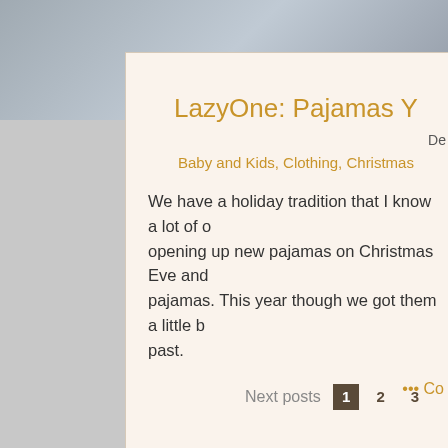[Figure (photo): Top portion of webpage showing a partial photo of people in the upper left, with a light gray tiled or office background]
LazyOne: Pajamas Y…
De…
Baby and Kids, Clothing, Christmas…
We have a holiday tradition that I know a lot of other families share - opening up new pajamas on Christmas Eve and snuggling up in those pajamas. This year though we got them a little b… past.
••• Co…
Next posts  1  2  3